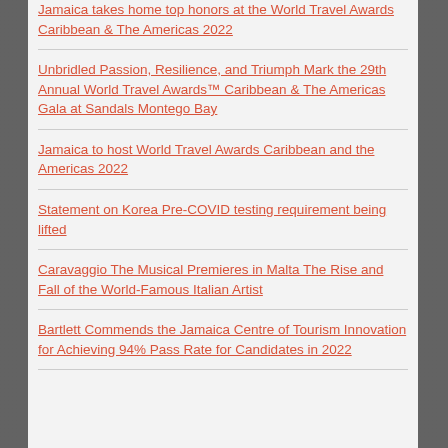Jamaica takes home top honors at the World Travel Awards Caribbean & The Americas 2022
Unbridled Passion, Resilience, and Triumph Mark the 29th Annual World Travel Awards™ Caribbean & The Americas Gala at Sandals Montego Bay
Jamaica to host World Travel Awards Caribbean and the Americas 2022
Statement on Korea Pre-COVID testing requirement being lifted
Caravaggio The Musical Premieres in Malta The Rise and Fall of the World-Famous Italian Artist
Bartlett Commends the Jamaica Centre of Tourism Innovation for Achieving 94% Pass Rate for Candidates in 2022